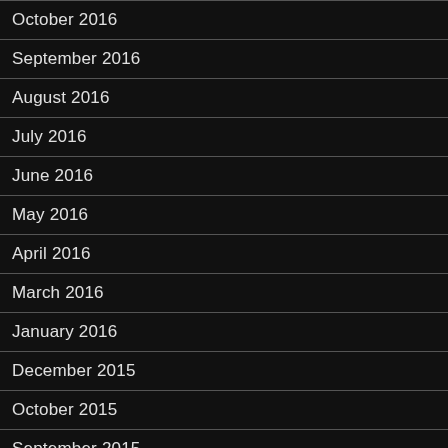October 2016
September 2016
August 2016
July 2016
June 2016
May 2016
April 2016
March 2016
January 2016
December 2015
October 2015
September 2015
August 2015